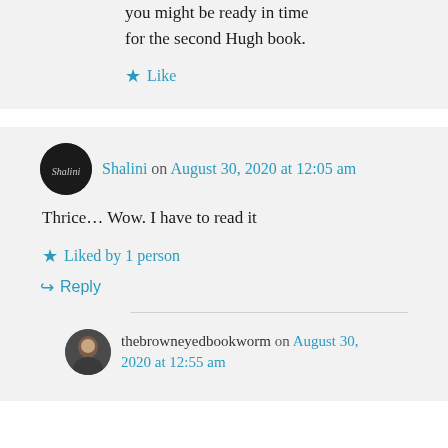you might be ready in time for the second Hugh book.
Like
Shalini on August 30, 2020 at 12:05 am
Thrice... Wow. I have to read it
Liked by 1 person
Reply
thebrowneyedbookworm on August 30, 2020 at 12:55 am